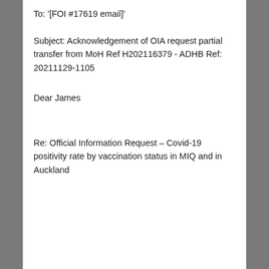To: '[FOI #17619 email]'
Subject: Acknowledgement of OIA request partial transfer from MoH Ref H202116379 - ADHB Ref: 20211129-1105
Dear James
Re: Official Information Request – Covid-19 positivity rate by vaccination status in MIQ and in Auckland